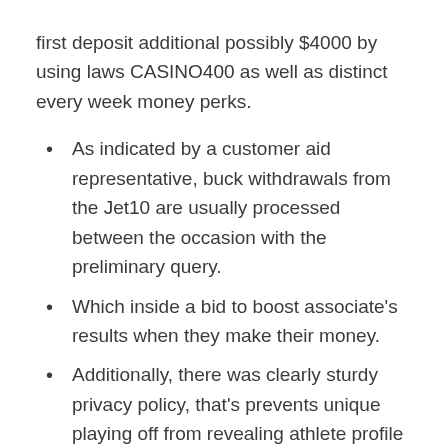first deposit additional possibly $4000 by using laws CASINO400 as well as distinct every week money perks.
As indicated by a customer aid representative, buck withdrawals from the Jet10 are usually processed between the occasion with the preliminary query.
Which inside a bid to boost associate's results when they make their money.
Additionally, there was clearly sturdy privacy policy, that's prevents unique playing off from revealing athlete profile to third parties.
This means even though you triumph $a hundred,100000 wearing a $one hundred money, it will be easy you'll be able to move